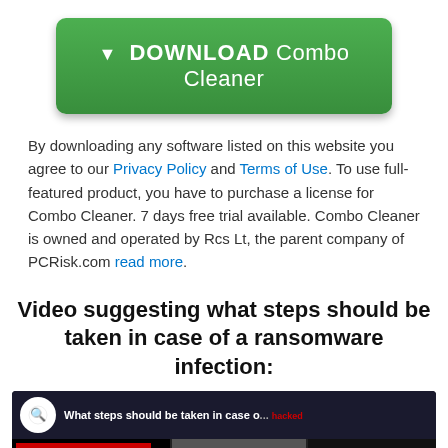[Figure (other): Green download button with arrow and text 'DOWNLOAD Combo Cleaner']
By downloading any software listed on this website you agree to our Privacy Policy and Terms of Use. To use full-featured product, you have to purchase a license for Combo Cleaner. 7 days free trial available. Combo Cleaner is owned and operated by Rcs Lt, the parent company of PCRisk.com read more.
Video suggesting what steps should be taken in case of a ransomware infection:
[Figure (screenshot): YouTube video thumbnail showing ransomware infection steps with title 'What steps should be taken in case o...' and a play button overlay]